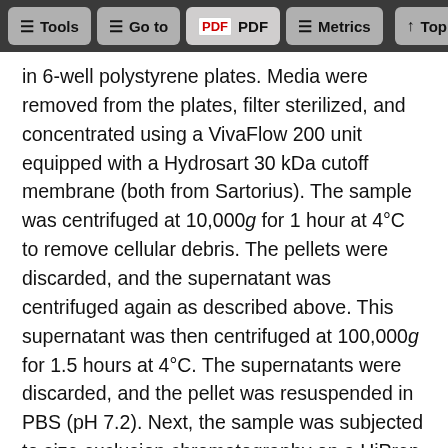Tools | Go to | PDF | Metrics | Top
in 6-well polystyrene plates. Media were removed from the plates, filter sterilized, and concentrated using a VivaFlow 200 unit equipped with a Hydrosart 30 kDa cutoff membrane (both from Sartorius). The sample was centrifuged at 10,000g for 1 hour at 4°C to remove cellular debris. The pellets were discarded, and the supernatant was centrifuged again as described above. This supernatant was then centrifuged at 100,000g for 1.5 hours at 4°C. The supernatants were discarded, and the pellet was resuspended in PBS (pH 7.2). Next, the sample was subjected to size exclusion chromatography on a HiPrep 16/60 Sephacryl S-400 HR column (GE Healthcare Life Sciences) pre-equilibrated with PBS (pH 7.2) containing 0.01% NaN₃. All chromatographic separations were performed at